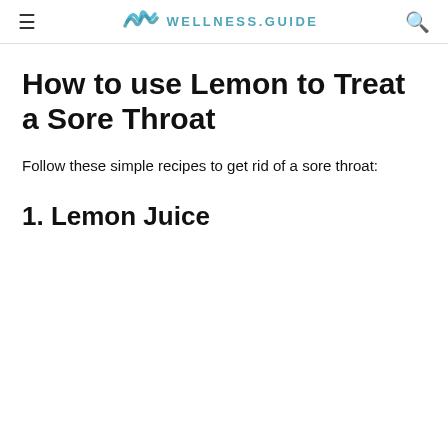WELLNESS.GUIDE
How to use Lemon to Treat a Sore Throat
Follow these simple recipes to get rid of a sore throat:
1. Lemon Juice